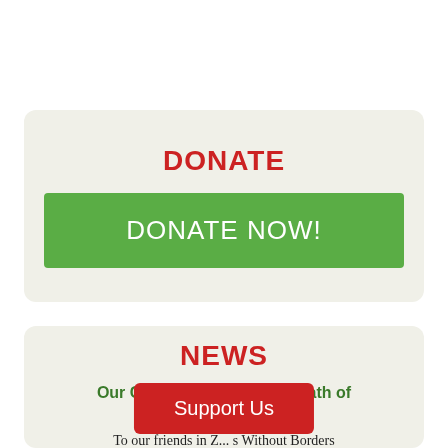DONATE
[Figure (other): Green donate now button]
NEWS
Our Condolences on the Death of Kenneth Kaunda
To our friends in Z... s Without Borders
[Figure (other): Red Support Us button]